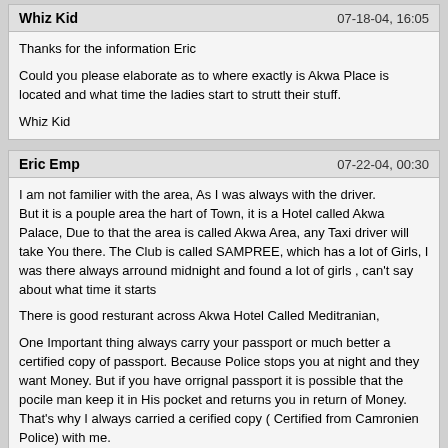Whiz Kid | 07-18-04, 16:05
Thanks for the information Eric

Could you please elaborate as to where exactly is Akwa Place is located and what time the ladies start to strutt their stuff.

Whiz Kid
Eric Emp | 07-22-04, 00:30
I am not familier with the area, As I was always with the driver.
But it is a pouple area the hart of Town, it is a Hotel called Akwa Palace, Due to that the area is called Akwa Area, any Taxi driver will take You there. The Club is called SAMPREE, which has a lot of Girls, I was there always arround midnight and found a lot of girls , can't say about what time it starts

There is good resturant across Akwa Hotel Called Meditranian,

One Important thing always carry your passport or much better a certified copy of passport. Because Police stops you at night and they want Money. But if you have orrignal passport it is possible that the pocile man keep it in His pocket and returns you in return of Money. That's why I always carried a cerified copy ( Certified from Camronien Police) with me.

The is another Club called Orange_Metalica I noticed few Girls there. The latest I found from the SAMPREE
Eric Emp | 07-22-04, 00:31
One from Sampree.
Eric Emp | 07-22-04, 00:33